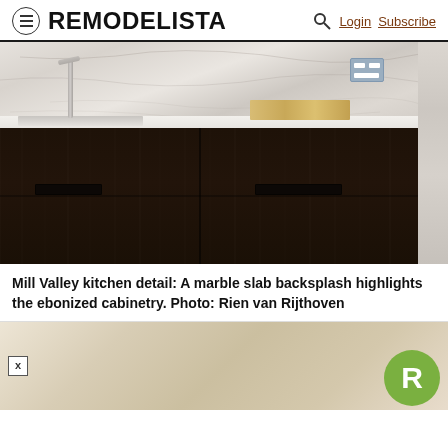REMODELISTA | Login | Subscribe
[Figure (photo): Kitchen detail showing dark ebonized cabinetry with wood grain texture, white marble slab backsplash, stainless steel faucet, undermount sink, light wood cutting board, and a gray electrical outlet/switch plate on the marble wall]
Mill Valley kitchen detail: A marble slab backsplash highlights the ebonized cabinetry. Photo: Rien van Rijthoven
[Figure (photo): Advertisement banner with warm beige/gold tones and a circular green Remodelista R logo in the bottom right corner, with an X close button on the left]